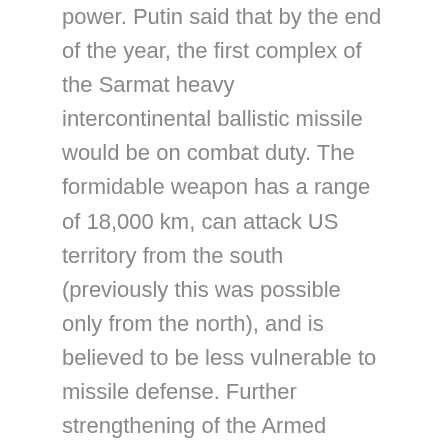power. Putin said that by the end of the year, the first complex of the Sarmat heavy intercontinental ballistic missile would be on combat duty. The formidable weapon has a range of 18,000 km, can attack US territory from the south (previously this was possible only from the north), and is believed to be less vulnerable to missile defense. Further strengthening of the Armed Forces, according to the President, will take into account potential military threats and risks, as well as the lessons of modern armed conflicts.
Putin spoke separately about the key conflict for Russia — a special military operation in Donbass. He said that